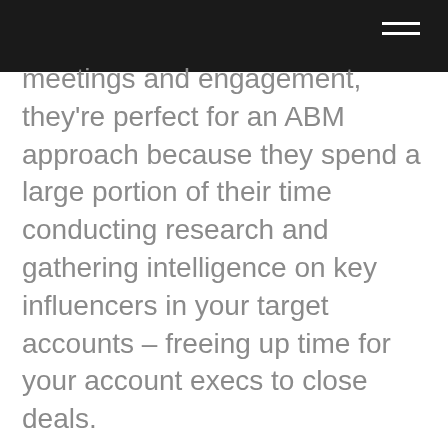meetings and engagement, they're perfect for an ABM approach because they spend a large portion of their time conducting research and gathering intelligence on key influencers in your target accounts – freeing up time for your account execs to close deals.
Former Marketo Founder, Jon Miller, and more recent founder and CEO of Engagio, an account-based